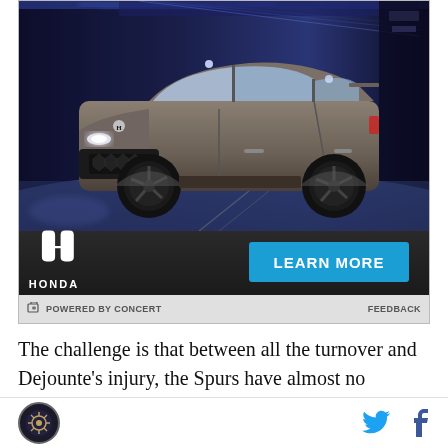[Figure (photo): Honda SUV advertisement showing a grey Honda crossover SUV driving on a road with blue motion-blurred background, Honda logo, and LEARN MORE button]
POWERED BY CONCERT
FEEDBACK
The challenge is that between all the turnover and Dejounte's injury, the Spurs have almost no continuity. I've said it before, but they can't put a single 5-man
[Figure (logo): Spurs Nation site logo - circular sports logo]
[Figure (logo): Twitter bird social icon and Facebook f icon]